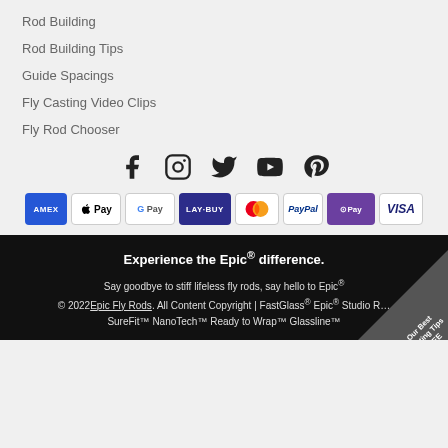Rod Building
Rod Building Tips
Guide Spacings
Fly Casting Video Clips
Fly Rod Chooser
[Figure (infographic): Social media icons: Facebook, Instagram, Twitter, YouTube, Pinterest]
[Figure (infographic): Payment method badges: AMEX, Apple Pay, Google Pay, LAY-BUY, Mastercard, PayPal, OPay, VISA]
Experience the Epic® difference.
Say goodbye to stiff lifeless fly rods, say hello to Epic®
© 2022 Epic Fly Rods. All Content Copyright | FastGlass® Epic® Studio R… SureFit™ NanoTech™ Ready to Wrap™ Glassline™
[Figure (infographic): Corner badge: Our Best Casting Tips FREE]